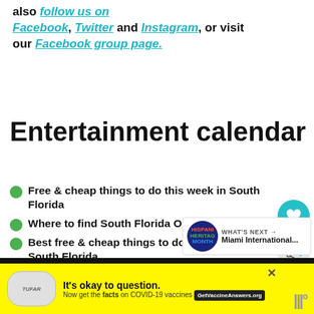also follow us on Facebook, Twitter and Instagram, or visit our Facebook group page.
Entertainment calendar
Free & cheap things to do this week in South Florida
Where to find South Florida Oktoberfest parties
Best free & cheap things to do this weekend in South Florida
Save big on Discount Tuesdays at Cinem...
2-for-1 discounts & other LauderDEALS for fun &
[Figure (infographic): Advertisement banner: yellow background with 'It's okay to question. Now get the facts on COVID-19 vaccines GetVaccineAnswers.org']